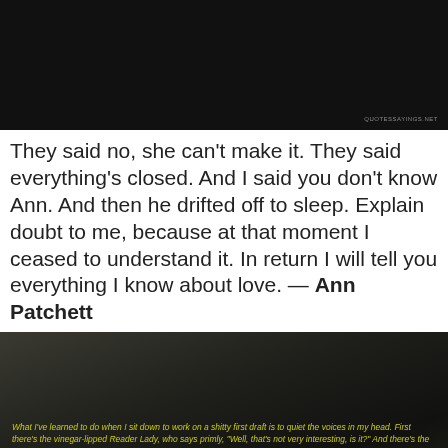[Figure (photo): Dark black background image, landscape orientation, with small watermark text 'QUOTESSAYINGS.NET' in lower right corner]
They said no, she can't make it. They said everything's closed. And I said you don't know Ann. And then he drifted off to sleep. Explain doubt to me, because at that moment I ceased to understand it. In return I will tell you everything I know about love. — Ann Patchett
[Figure (photo): Dark gray/olive background image resembling pencils or blurred objects, with yellow italic text quote by Anne Lamott about writing a shitty first draft]
What I've learned to do when I sit down to work on a shitty first draft is to quiet the voices in my head. First there's the vinegar-lipped Reader Lady, who says primly, "Well, that's not very interesting, is it?" And there's the emaciated German male who writes these Orwellian memos detailing your thought crimes. And there are your parents, agonizing over your lack of loyalty and discretion; and there's William Burroughs, dozing off or shooting up because he finds you as bold and articulate as a houseplant; and so on. And there are also the dogs: let's not forget ~ Author: Anne Lamott